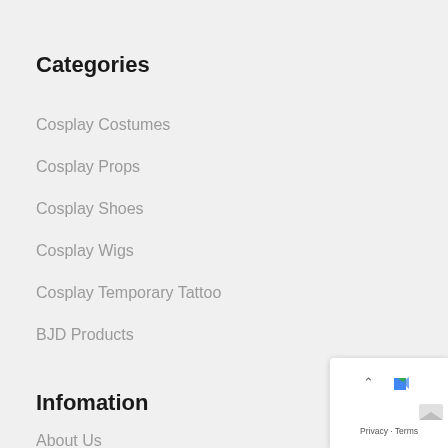Categories
Cosplay Costumes
Cosplay Props
Cosplay Shoes
Cosplay Wigs
Cosplay Temporary Tattoo
BJD Products
Infomation
About Us